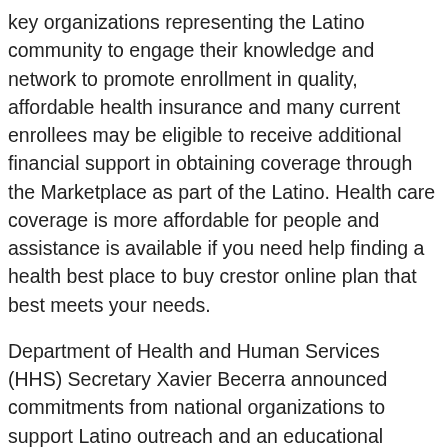key organizations representing the Latino community to engage their knowledge and network to promote enrollment in quality, affordable health insurance and many current enrollees may be eligible to receive additional financial support in obtaining coverage through the Marketplace as part of the Latino. Health care coverage is more affordable for people and assistance is available if you need help finding a health best place to buy crestor online plan that best meets your needs.
Department of Health and Human Services (HHS) Secretary Xavier Becerra announced commitments from national organizations to support Latino outreach and an educational campaign, which includes broadcast and digital advertising and educates through email and text messages in both Spanish and English. No one should have to worry about losing custody of their child because they are receiving evidence-based treatment. As part of the American Rescue Plan increased tax credits available to millions of best place to buy crestor online consumers, reducing premiums and giving consumers access to affordable, quality health care services and infrastructure in